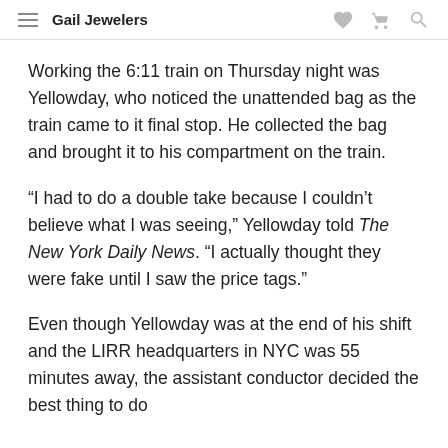Gail Jewelers
Working the 6:11 train on Thursday night was Yellowday, who noticed the unattended bag as the train came to it final stop. He collected the bag and brought it to his compartment on the train.
“I had to do a double take because I couldn’t believe what I was seeing,” Yellowday told The New York Daily News. “I actually thought they were fake until I saw the price tags.”
Even though Yellowday was at the end of his shift and the LIRR headquarters in NYC was 55 minutes away, the assistant conductor decided the best thing to do